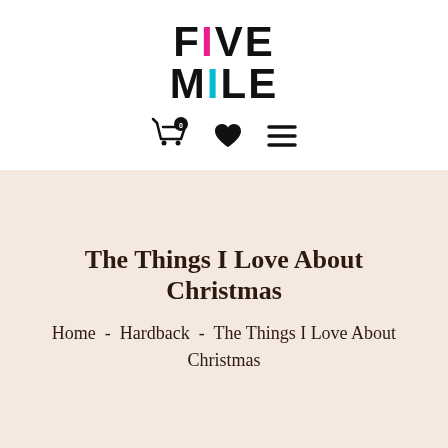[Figure (logo): FIVE MILE logo in bold black uppercase text, with the letter I in FIVE colored pink/magenta and the letter I in MILE colored cyan/teal]
[Figure (infographic): Navigation icons: shopping cart with badge showing 0, heart/wishlist icon, and hamburger menu icon]
The Things I Love About Christmas
Home  -  Hardback  -  The Things I Love About Christmas